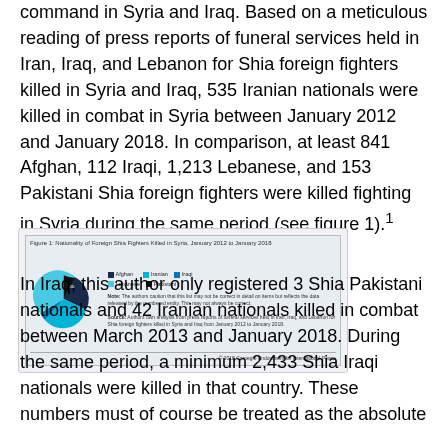command in Syria and Iraq. Based on a meticulous reading of press reports of funeral services held in Iran, Iraq, and Lebanon for Shia foreign fighters killed in Syria and Iraq, 535 Iranian nationals were killed in combat in Syria between January 2012 and January 2018. In comparison, at least 841 Afghan, 112 Iraqi, 1,213 Lebanese, and 153 Pakistani Shia foreign fighters were killed fighting in Syria during the same period (see figure 1).¹
[Figure (pie-chart): Figure 1: Nationality of Foreign Shia Fighters Killed in Syria, January 2012 to January 2018]
In Iraq, this author only registered 3 Shia Pakistani nationals and 42 Iranian nationals killed in combat between March 2013 and January 2018. During the same period, a minimum 2,433 Shia Iraqi nationals were killed in that country. These numbers must of course be treated as the absolute